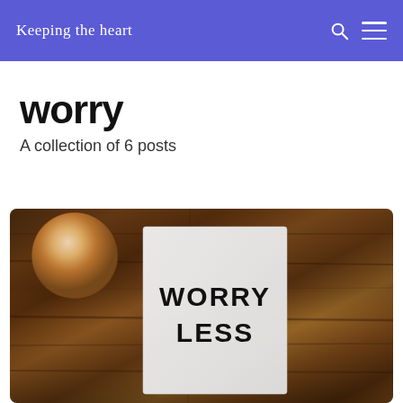Keeping the heart
worry
A collection of 6 posts
[Figure (photo): Photo of a white card on a wooden surface with text WORRY LESS printed on it, with a candle in the background]